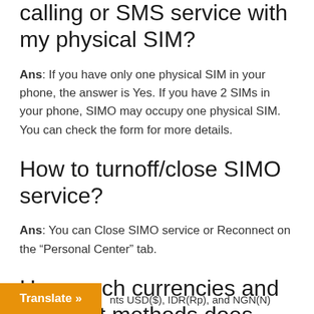calling or SMS service with my physical SIM?
Ans: If you have only one physical SIM in your phone, the answer is Yes. If you have 2 SIMs in your phone, SIMO may occupy one physical SIM. You can check the form for more details.
How to turnoff/close SIMO service?
Ans: You can Close SIMO service or Reconnect on the “Personal Center” tab.
How much currencies and payment methods does SIMO support?
nts USD($), IDR(Rp), and NGN(N)